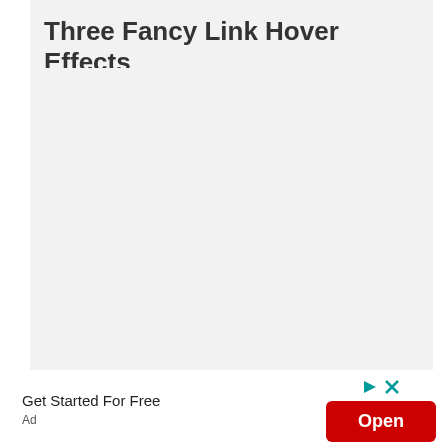Three Fancy Link Hover Effects
[Figure (screenshot): Gray empty content area below the title]
Get Started For Free
Ad
[Figure (other): Red Open button advertisement with play and close icons]